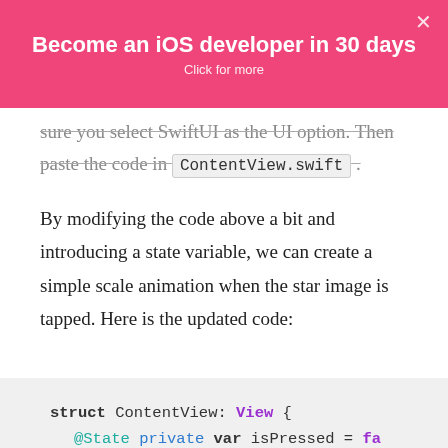Become an iOS developer in 30 days
Click for more
sure you select SwiftUI as the UI option. Then paste the code in ContentView.swift .
By modifying the code above a bit and introducing a state variable, we can create a simple scale animation when the star image is tapped. Here is the updated code:
struct ContentView: View {
    @State private var isPressed = fa

    var body: some View {
        Image(systemName: "star.circl
        .font(size: (size: 100))